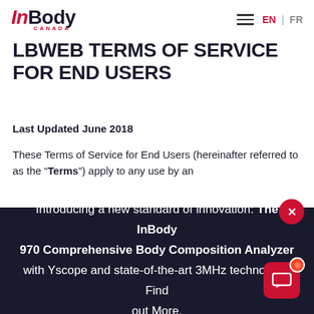InBody CANADA | EN | FR
LBWEB TERMS OF SERVICE FOR END USERS
Last Updated June 2018
These Terms of Service for End Users (hereinafter referred to as the “Terms”) apply to any use by an
Introducing a new standard of innovation: The InBody 970 Comprehensive Body Composition Analyzer with Yscope and state-of-the-art 3MHz technology! Find out More.